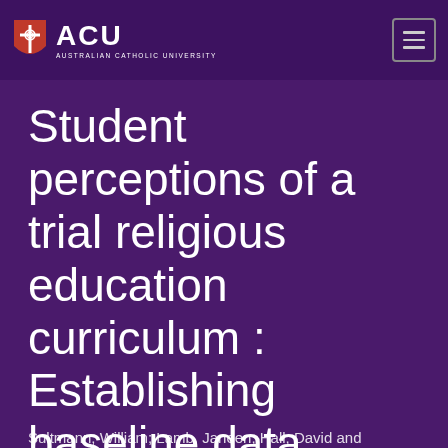[Figure (logo): ACU (Australian Catholic University) logo with shield icon and text, plus hamburger menu button on right]
Student perceptions of a trial religious education curriculum : Establishing baseline data
Journal article
Sultmann, William; Lamb, Janeen; Hall, David and